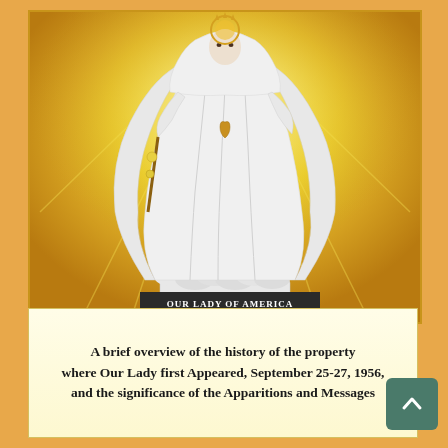[Figure (photo): Statue of Our Lady of America in white robes with gold crown and accessories, standing on cloud base, against golden radiant background. Label at bottom reads 'OUR LADY OF AMERICA'.]
A brief overview of the history of the property where Our Lady first Appeared, September 25-27, 1956, and the significance of the Apparitions and Messages